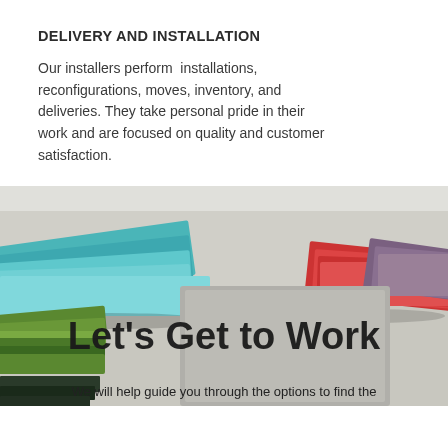DELIVERY AND INSTALLATION
Our installers perform  installations, reconfigurations, moves, inventory, and deliveries. They take personal pride in their work and are focused on quality and customer satisfaction.
[Figure (photo): Stacked fabric swatches in various colors including teal, blue, red, purple, green, and gray, arranged on a flat surface. Overlaid text reads 'Let's Get to Work' and 'We will help guide you through the options to find the']
Let's Get to Work
We will help guide you through the options to find the